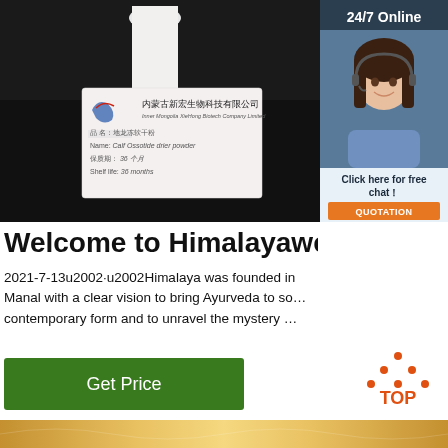[Figure (photo): Product photo showing a white bottle/container on dark background with a product label from Inner Mongolia XieHong Biotech Company Limited showing product name in Chinese and English: Calf Ossotide drier powder, shelf life 36 months]
[Figure (photo): Customer service agent - smiling woman with headset on blue/white background with 24/7 Online text and chat/quotation buttons]
Welcome to Himalayawellne…
2021-7-13u2002·u2002Himalaya was founded in Manal with a clear vision to bring Ayurveda to so… contemporary form and to unravel the mystery …
Get Price
[Figure (illustration): TOP navigation button with orange dot triangle icon above text TOP in orange]